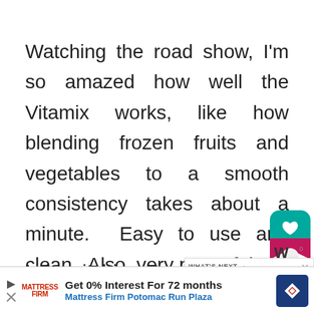Watching the road show, I'm so amazed how well the Vitamix works, like how blending frozen fruits and vegetables to a smooth consistency takes about a minute.  Easy to use and clean.  Also, very powerful!
[Figure (other): Floating action buttons: heart/save button (teal/pink) and share button (circular grey)]
I be itching to take out my wallet
bu... s...ond
[Figure (other): What's Next panel showing 'Refreshing Smoothie...' with thumbnail image and close button]
[Figure (other): Advertisement banner: Mattress Firm - Get 0% Interest For 72 months, Mattress Firm Potomac Run Plaza, with navigation icon]